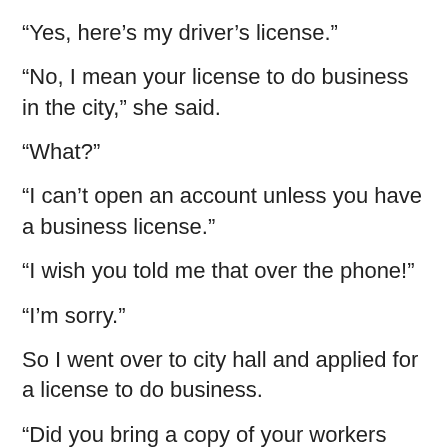“Yes, here’s my driver’s license.”
“No, I mean your license to do business in the city,” she said.
“What?”
“I can’t open an account unless you have a business license.”
“I wish you told me that over the phone!”
“I’m sorry.”
So I went over to city hall and applied for a license to do business.
“Did you bring a copy of your workers compensation insurance?” the clerk asked.
“What? No, we’re brand new. We don’t have any